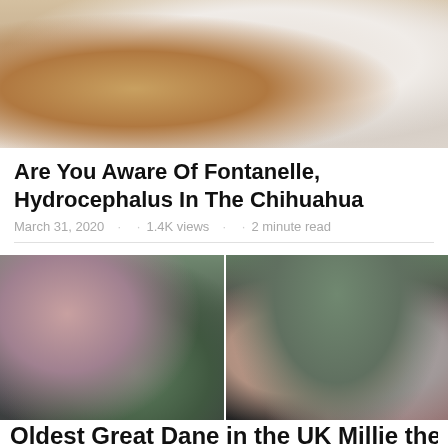[Figure (photo): Close-up photo of a dog (appears to be a light-colored breed) resting among soft blankets or stuffed animals in warm brown and beige tones]
Are You Aware Of Fontanelle, Hydrocephalus In The Chihuahua
March 31, 2020 · · 1.4K views · · 2 minute read
[Figure (photo): Two side-by-side photos: left shows a woman with red hair posing with a large grey Great Dane dog outdoors; right shows a family group (two women, a man, two children) posing with dogs including a small dog and a grey dog]
Oldest Great Dane in the UK Millie the D...